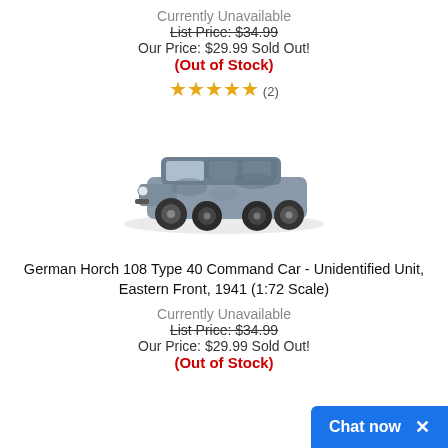Currently Unavailable
List Price: $34.99
Our Price: $29.99 Sold Out!
(Out of Stock)
★★★★★ (2)
[Figure (photo): Scale model of a German Horch 108 Type 40 Command Car in grey/blue camouflage paint, 1:72 scale model photograph]
German Horch 108 Type 40 Command Car - Unidentified Unit, Eastern Front, 1941 (1:72 Scale)
Currently Unavailable
List Price: $34.99
Our Price: $29.99 Sold Out!
(Out of Stock)